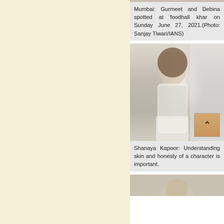[Figure (photo): Shanaya Kapoor photo - woman in white and silver embroidered outfit sitting near window]
Mumbai: Gurmeet and Debina spotted at foodhall khar on Sunday June 27, 2021.(Photo: Sanjay Tiwari/IANS)
Shanaya Kapoor: Understanding skin and honesty of a character is important.
[Figure (photo): Partial photo at bottom, person visible from top]